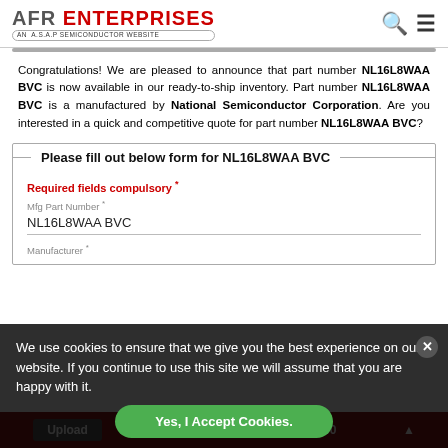AFR ENTERPRISES - AN A.S.A.P SEMICONDUCTOR WEBSITE
Congratulations! We are pleased to announce that part number NL16L8WAA BVC is now available in our ready-to-ship inventory. Part number NL16L8WAA BVC is a manufactured by National Semiconductor Corporation. Are you interested in a quick and competitive quote for part number NL16L8WAA BVC?
Please fill out below form for NL16L8WAA BVC
Required fields compulsory *
Mfg Part Number *
NL16L8WAA BVC
Manufacturer *
We use cookies to ensure that we give you the best experience on our website. If you continue to use this site we will assume that you are happy with it.
Yes, I Accept Cookies.
Upload | +1/714-705-4780